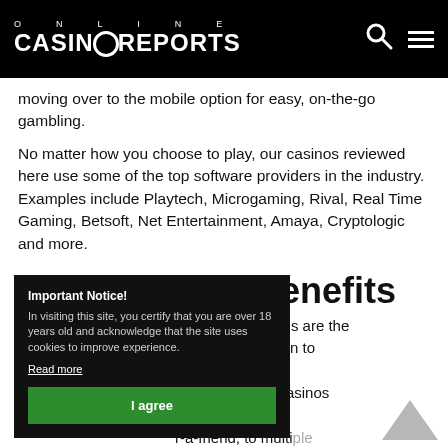ONLINE CASINOREPORTS
moving over to the mobile option for easy, on-the-go gambling.
No matter how you choose to play, our casinos reviewed here use some of the top software providers in the industry. Examples include Playtech, Microgaming, Rival, Real Time Gaming, Betsoft, Net Entertainment, Amaya, Cryptologic and more.
Bonuses and Benefits
es and promotions are the ers and holding on to os with frequent e most popular casinos n range from r-a-friend, to multiple otions can be daily,
Important Notice!
In visiting this site, you certify that you are over 18 years old and acknowledge that the site uses cookies to improve experience.
Read more
I agree